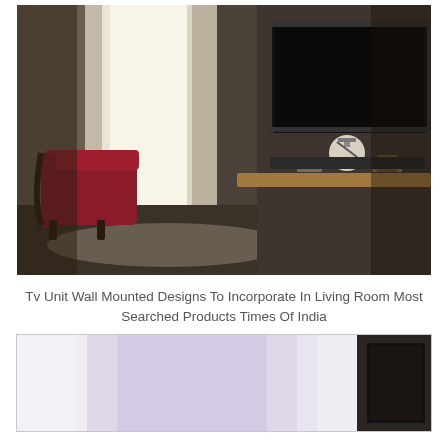[Figure (photo): A living room interior with a wall-mounted flat-screen TV on a textured dark stone/concrete wall, a floating wooden shelf below, a white globe lamp, a red armchair on the left, and sheer curtains by a bright window.]
Tv Unit Wall Mounted Designs To Incorporate In Living Room Most Searched Products Times Of India
[Figure (photo): Partial view of a room interior with a light purple/lavender toned wall and a framed picture partially visible on the right side.]